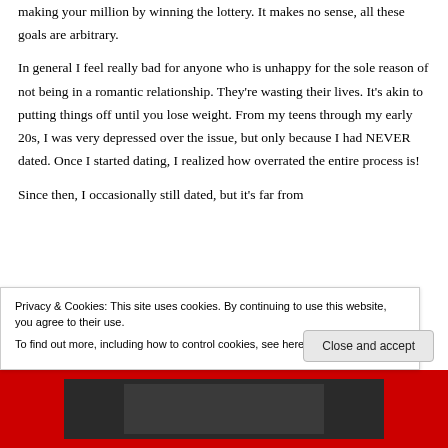making your million by winning the lottery. It makes no sense, all these goals are arbitrary.
In general I feel really bad for anyone who is unhappy for the sole reason of not being in a romantic relationship. They're wasting their lives. It's akin to putting things off until you lose weight. From my teens through my early 20s, I was very depressed over the issue, but only because I had NEVER dated. Once I started dating, I realized how overrated the entire process is!
Since then, I occasionally still dated, but it's far from...
Privacy & Cookies: This site uses cookies. By continuing to use this website, you agree to their use.
To find out more, including how to control cookies, see here: Cookie Policy
Close and accept
[Figure (photo): Partially visible image strip at the bottom, with a red/dark background and some image content]